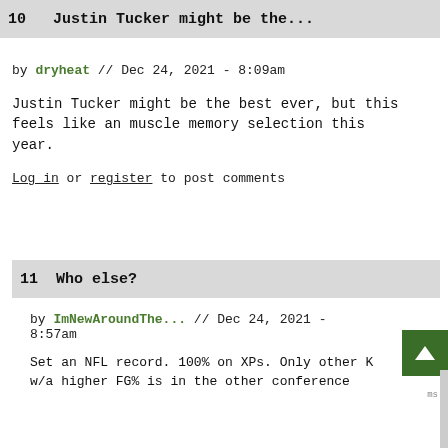10  Justin Tucker might be the...
by dryheat // Dec 24, 2021 - 8:09am
Justin Tucker might be the best ever, but this feels like an muscle memory selection this year.
Log in or register to post comments
11  Who else?
by ImNewAroundThe... // Dec 24, 2021 - 8:57am
Set an NFL record. 100% on XPs. Only other K w/a higher FG% is in the other conference